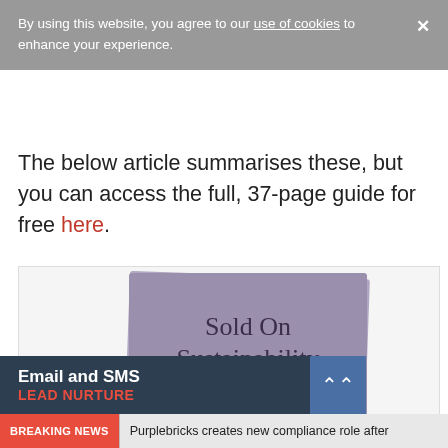By using this website, you agree to our use of cookies to enhance your experience.
The below article summarises these, but you can access the full, 37-page guide for free here.
[Figure (photo): Book cover titled 'Sold On Sustainability – Six sensible ways for agents to go green' with purple/mauve background and illustration of a person walking]
Email and SMS LEAD NURTURE
BREAKING NEWS  Purplebricks creates new compliance role after